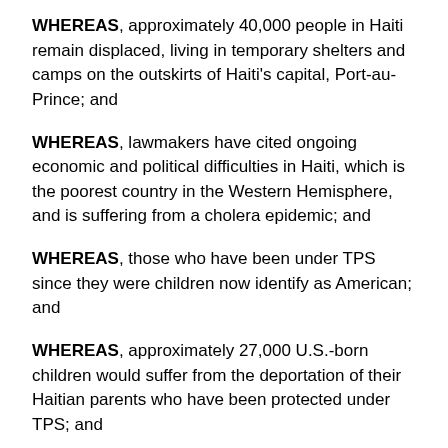WHEREAS, approximately 40,000 people in Haiti remain displaced, living in temporary shelters and camps on the outskirts of Haiti's capital, Port-au-Prince; and
WHEREAS, lawmakers have cited ongoing economic and political difficulties in Haiti, which is the poorest country in the Western Hemisphere, and is suffering from a cholera epidemic; and
WHEREAS, those who have been under TPS since they were children now identify as American; and
WHEREAS, approximately 27,000 U.S.-born children would suffer from the deportation of their Haitian parents who have been protected under TPS; and
WHEREAS, Haitians covered under TPS and...